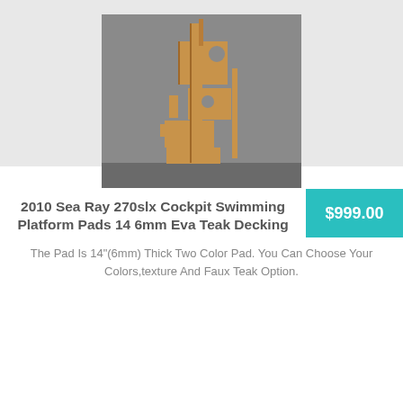[Figure (photo): Photo of cardboard template pieces for boat cockpit swimming platform pads, displayed against a gray background wall]
2010 Sea Ray 270slx Cockpit Swimming Platform Pads 14 6mm Eva Teak Decking
$999.00
The Pad Is 14"(6mm) Thick Two Color Pad. You Can Choose Your Colors,texture And Faux Teak Option.